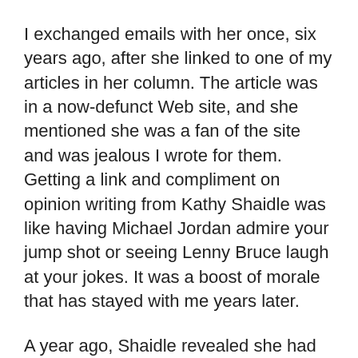I exchanged emails with her once, six years ago, after she linked to one of my articles in her column. The article was in a now-defunct Web site, and she mentioned she was a fan of the site and was jealous I wrote for them. Getting a link and compliment on opinion writing from Kathy Shaidle was like having Michael Jordan admire your jump shot or seeing Lenny Bruce laugh at your jokes. It was a boost of morale that has stayed with me years later.
A year ago, Shaidle revealed she had Stage 3 ovarian cancer with a piece titled By the Time You Read This, I Will Be Bald. She wrote, “After more than 50 years, I finally got my hair to look just the way I wanted. So of course I got cancer.”
Over the past year, her spirit and humor did not waiver and she informed her readers of her journey through